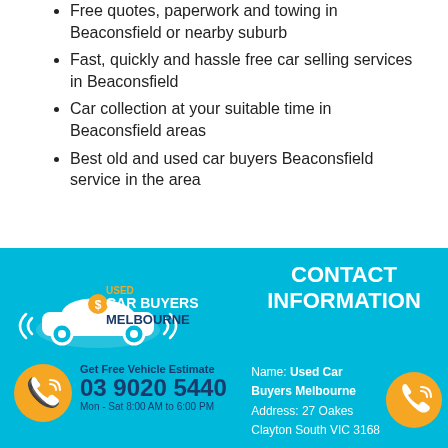Free quotes, paperwork and towing in Beaconsfield or nearby suburb
Fast, quickly and hassle free car selling services in Beaconsfield
Car collection at your suitable time in Beaconsfield areas
Best old and used car buyers Beaconsfield service in the area
[Figure (logo): Used Car Buyers Melbourne logo with car icon and dollar sign]
CONTACT INFORMATION
Get Free Vehicle Estimate
03 9020 5440
Mon - Sat 8:00 AM to 6:00 PM
Name: Used Car Buyers Melbourne
Address: 27 Oakes
Clayton South VIC 3168